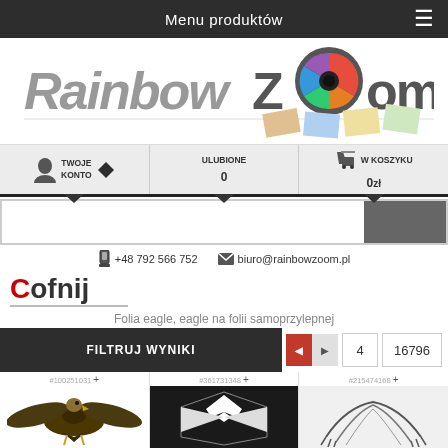Menu produktów
[Figure (logo): RainbowZoom logo with colorful camera lens graphic]
TWOJE KONTO | ULUBIONE 0 | W KOSZYKU 0 zł
+48 792 566 752  biuro@rainbowzoom.pl
Cofnij
Folia eagle, eagle na folii samoprzylepnej
FILTRUJ WYNIKI  4  16796
[Figure (screenshot): Product grid showing eagle images: #100251031, #361731348, #215474168]